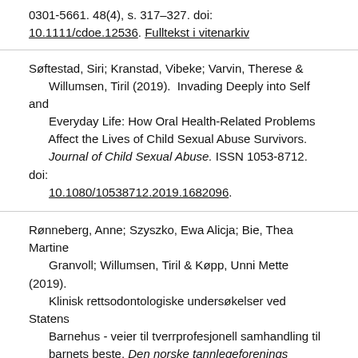0301-5661. 48(4), s. 317–327. doi: 10.1111/cdoe.12536. Fulltekst i vitenarkiv
Søftestad, Siri; Kranstad, Vibeke; Varvin, Therese & Willumsen, Tiril (2019). Invading Deeply into Self and Everyday Life: How Oral Health-Related Problems Affect the Lives of Child Sexual Abuse Survivors. Journal of Child Sexual Abuse. ISSN 1053-8712. doi: 10.1080/10538712.2019.1682096.
Rønneberg, Anne; Szyszko, Ewa Alicja; Bie, Thea Martine Granvoll; Willumsen, Tiril & Køpp, Unni Mette (2019). Klinisk rettsodontologiske undersøkelser ved Statens Barnehus - veier til tverrprofesjonell samhandling til barnets beste. Den norske tannlegeforenings tidende. ISSN 0029-2303. 129, s. 884–892.